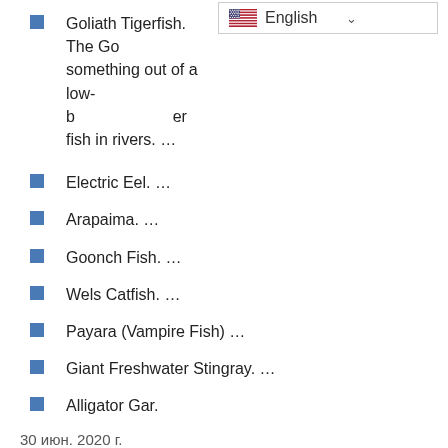Goliath Tigerfish. The Go... something out of a low-b... er fish in rivers. …
[Figure (screenshot): Language selector dropdown showing flag of USA and text 'English' with a chevron/arrow]
Electric Eel. …
Arapaima. …
Goonch Fish. …
Wels Catfish. …
Payara (Vampire Fish) …
Giant Freshwater Stingray. …
Alligator Gar.
30 июн. 2020 г.
What fish can hurt you?
Billfish, wahoo, king mackerel, tigerfish, scorpionfish and piranha are a few other not-so-surprising species worthy of our list, but walleyes and perch are worth a mention as well–